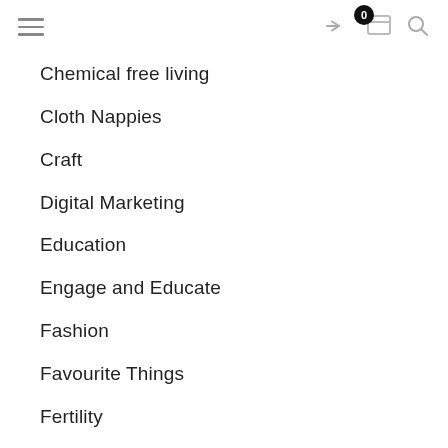Navigation bar with hamburger menu, share icon, cart (0), and search icon
Chemical free living
Cloth Nappies
Craft
Digital Marketing
Education
Engage and Educate
Fashion
Favourite Things
Fertility
Follow Your Heart
Getting Out and About
Health